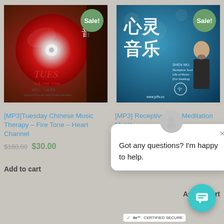[Figure (photo): Product image for Tuesday Chinese Music Therapy CD with red disc and Sale badge]
[Figure (photo): Product image for Receptive Soul Meditation book/CD with blue cover and man, with Sale badge]
[MP3]Tuesday Chinese Music Therapy – Fire Tone – Heart Channel
$160.00 $30.00
Add to cart
[MP3] Receptive Soul Meditation Music
Add to cart
Got any questions? I'm happy to help.